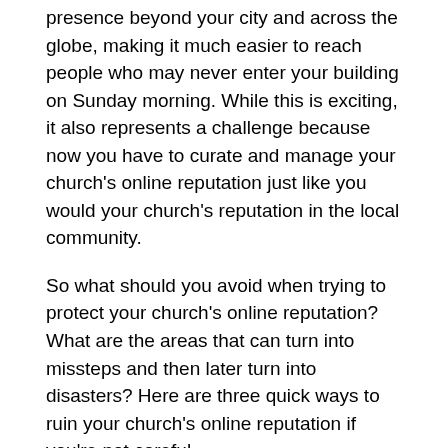presence beyond your city and across the globe, making it much easier to reach people who may never enter your building on Sunday morning. While this is exciting, it also represents a challenge because now you have to curate and manage your church's online reputation just like you would your church's reputation in the local community.
So what should you avoid when trying to protect your church's online reputation? What are the areas that can turn into missteps and then later turn into disasters? Here are three quick ways to ruin your church's online reputation if you're not careful.
Your Church is Inconsistent
One of the hallmarks of a great brand is consistency. Apple has a consistent brand look with white space and black